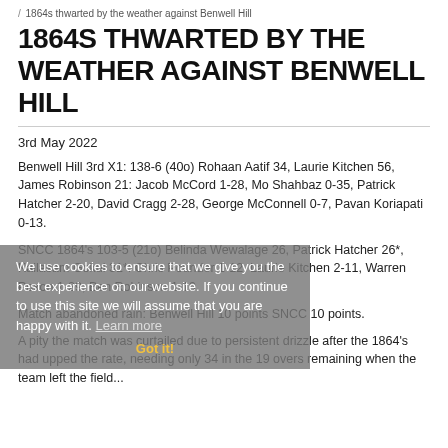/ 1864s thwarted by the weather against Benwell Hill
1864S THWARTED BY THE WEATHER AGAINST BENWELL HILL
3rd May 2022
Benwell Hill 3rd X1: 138-6 (40o) Rohaan Aatif 34, Laurie Kitchen 56, James Robinson 21: Jacob McCord 1-28, Mo Shahbaz 0-35, Patrick Hatcher 2-20, David Cragg 2-28, George McConnell 0-7, Pavan Koriapati 0-13.
SNCC 1864's 103-5 (21o) Belinda Wewalage 26, Patrick Hatcher 26*, Kailasam Gokul 31*: Chris Pounder 1-12, Laurie Kitchen 2-11, Warren Poxon 1-29, Ben Robinson 1-19.
Match abandoned rain: Benwell Hill 10 points SNCC 10 points.
A pity the match was curtailed due to persistent drizzle after the 1864's had upped the rate, needing only 34 in the 19 overs remaining when the team left the field...